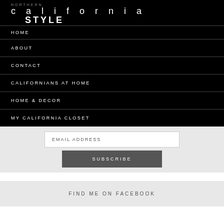NORTHERN california STYLE
HOME
ABOUT
CONTACT
CALIFORNIANS AT HOME
HOME & DECOR
MY CALIFORNIA CLOSET
EMAIL ADDRESS
SUBSCRIBE
FIND ME ON FACEBOOK